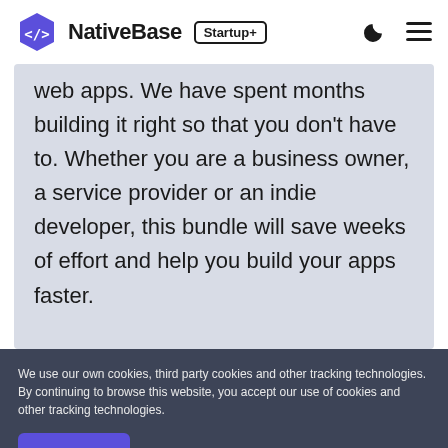NativeBase Startup+
web apps. We have spent months building it right so that you don't have to. Whether you are a business owner, a service provider or an indie developer, this bundle will save weeks of effort and help you build your apps faster.
We use our own cookies, third party cookies and other tracking technologies. By continuing to browse this website, you accept our use of cookies and other tracking technologies.
ACCEPT    READ POLICY